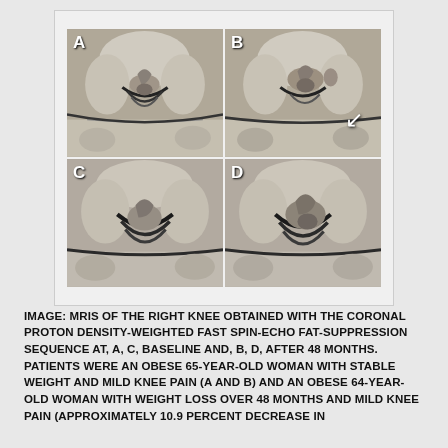[Figure (photo): 2x2 grid of MRI images of the right knee labeled A, B, C, D. Images A and C show baseline; images B and D show after 48 months. Image B contains a white arrow pointing to a feature in the lower right area of the image.]
IMAGE: MRIS OF THE RIGHT KNEE OBTAINED WITH THE CORONAL PROTON DENSITY-WEIGHTED FAST SPIN-ECHO FAT-SUPPRESSION SEQUENCE AT, A, C, BASELINE AND, B, D, AFTER 48 MONTHS. PATIENTS WERE AN OBESE 65-YEAR-OLD WOMAN WITH STABLE WEIGHT AND MILD KNEE PAIN (A AND B) AND AN OBESE 64-YEAR-OLD WOMAN WITH WEIGHT LOSS OVER 48 MONTHS AND MILD KNEE PAIN (APPROXIMATELY 10.9 PERCENT DECREASE IN